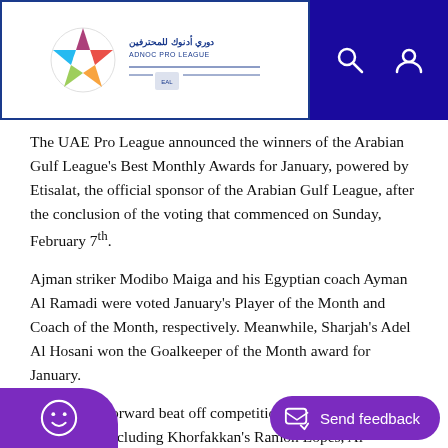ADNOC Pro League logo and navigation header
The UAE Pro League announced the winners of the Arabian Gulf League’s Best Monthly Awards for January, powered by Etisalat, the official sponsor of the Arabian Gulf League, after the conclusion of the voting that commenced on Sunday, February 7th.
Ajman striker Modibo Maiga and his Egyptian coach Ayman Al Ramadi were voted January’s Player of the Month and Coach of the Month, respectively. Meanwhile, Sharjah’s Adel Al Hosani won the Goalkeeper of the Month award for January.
The Malian forward beat off competition from four other contenders, including Khorfakkan’s Ramon Lopes, Al Wahda’s Lee Myung-Joo, Abdulaziz Haikal of Shabab Al Ahli and Sharjah’s Igor Coronado.
The King’s keeper Adel Al Hosani won the Best Goalkeeper Award ging his rivals Majed Naser from Shabab ri from Al Wasl.